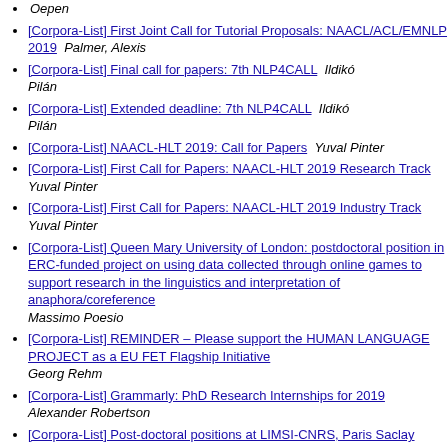[Corpora-List] First Joint Call for Tutorial Proposals: NAACL/ACL/EMNLP 2019  Palmer, Alexis
[Corpora-List] Final call for papers: 7th NLP4CALL  Ildikó Pilán
[Corpora-List] Extended deadline: 7th NLP4CALL  Ildikó Pilán
[Corpora-List] NAACL-HLT 2019: Call for Papers  Yuval Pinter
[Corpora-List] First Call for Papers: NAACL-HLT 2019 Research Track  Yuval Pinter
[Corpora-List] First Call for Papers: NAACL-HLT 2019 Industry Track  Yuval Pinter
[Corpora-List] Queen Mary University of London: postdoctoral position in ERC-funded project on using data collected through online games to support research in the linguistics and interpretation of anaphora/coreference  Massimo Poesio
[Corpora-List] REMINDER – Please support the HUMAN LANGUAGE PROJECT as a EU FET Flagship Initiative  Georg Rehm
[Corpora-List] Grammarly: PhD Research Internships for 2019  Alexander Robertson
[Corpora-List] Post-doctoral positions at LIMSI-CNRS, Paris Saclay (Paris Sud) University in NLP, Dialogue